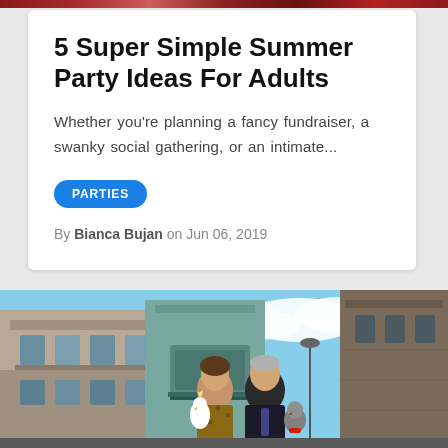[Figure (photo): Colorful image strip at top of page]
5 Super Simple Summer Party Ideas For Adults
Whether you're planning a fancy fundraiser, a swanky social gathering, or an intimate...
PARTIES
By Bianca Bujan on Jun 06, 2019
[Figure (photo): A man and woman standing on a city street with old buildings, both holding birds (a white cockatoo and a grey parrot). The woman wears a leopard print dress and the man wears a dark suit with a tie.]